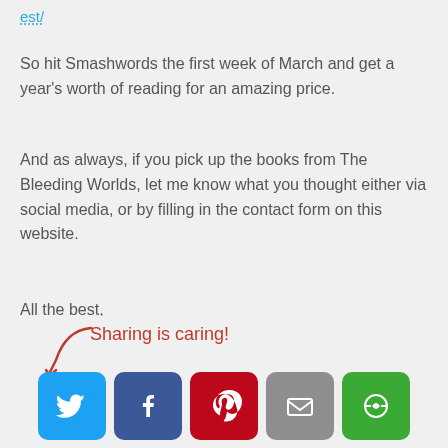est/
So hit Smashwords the first week of March and get a year's worth of reading for an amazing price.
And as always, if you pick up the books from The Bleeding Worlds, let me know what you thought either via social media, or by filling in the contact form on this website.
All the best,
JR
And happy reading!
[Figure (infographic): Sharing is caring! label with decorative arrow and social sharing buttons for Twitter, Facebook, Pinterest, Email, and More.]